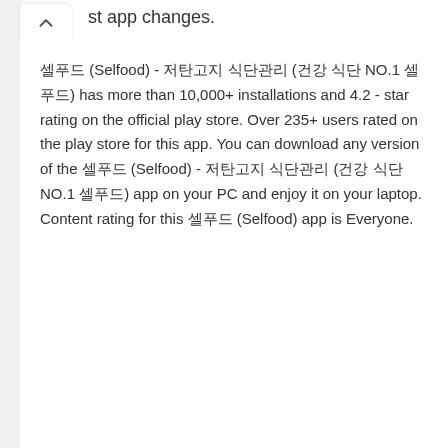st app changes.
셀푸드 (Selfood) - 저탄고지 식단관리 (건강 식단 NO.1 셀푸드) has more than 10,000+ installations and 4.2 - star rating on the official play store. Over 235+ users rated on the play store for this app. You can download any version of the 셀푸드 (Selfood) - 저탄고지 식단관리 (건강 식단 NO.1 셀푸드) app on your PC and enjoy it on your laptop. Content rating for this 셀푸드 (Selfood) app is Everyone.